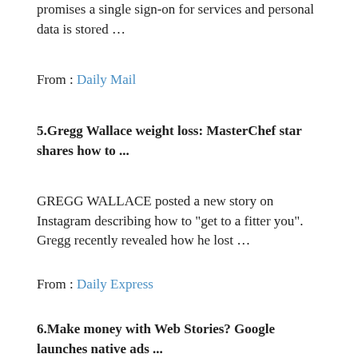promises a single sign-on for services and personal data is stored …
From : Daily Mail
5.Gregg Wallace weight loss: MasterChef star shares how to ...
GREGG WALLACE posted a new story on Instagram describing how to "get to a fitter you". Gregg recently revealed how he lost …
From : Daily Express
6.Make money with Web Stories? Google launches native ads ...